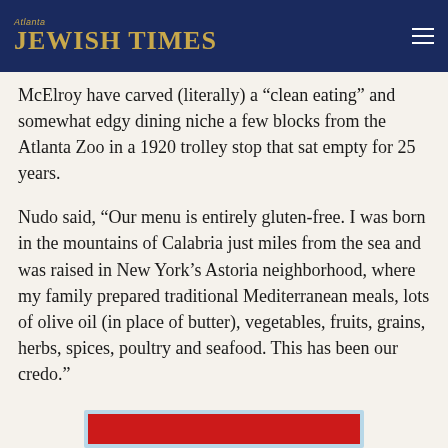Atlanta JEWISH TIMES
McElroy have carved (literally) a “clean eating” and somewhat edgy dining niche a few blocks from the Atlanta Zoo in a 1920 trolley stop that sat empty for 25 years.
Nudo said, “Our menu is entirely gluten-free. I was born in the mountains of Calabria just miles from the sea and was raised in New York’s Astoria neighborhood, where my family prepared traditional Mediterranean meals, lots of olive oil (in place of butter), vegetables, fruits, grains, herbs, spices, poultry and seafood. This has been our credo.”
[Figure (other): Partial view of a red and blue image at the bottom of the page, cropped]